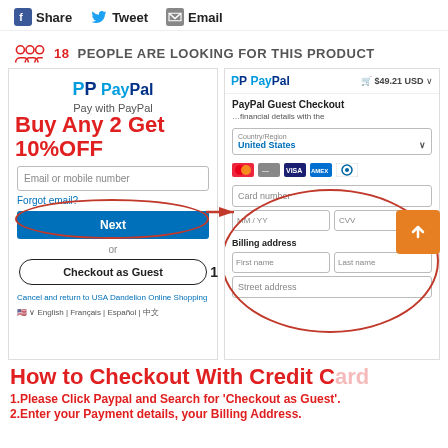Share  Tweet  Email
18 PEOPLE ARE LOOKING FOR THIS PRODUCT
[Figure (screenshot): Screenshot of PayPal checkout page with two panels: left shows PayPal login with 'Pay with PayPal' and 'Checkout as Guest' button (labeled 1), right shows PayPal Guest Checkout form with card fields and billing address (labeled 2). Red oval circles highlight steps 1 and 2. A red promotional overlay reads 'Buy Any 2 Get 10%OFF'. An arrow points from the guest checkout button to the right panel form.]
How to Checkout With Credit Card
1.Please Click Paypal and Search for 'Checkout as Guest'.
2.Enter your Payment details, your Billing Address.